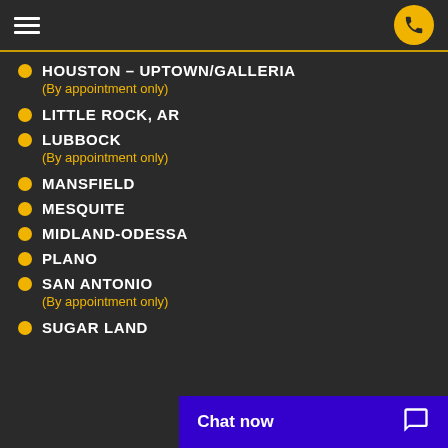Navigation header with hamburger menu and phone button
HOUSTON - UPTOWN/GALLERIA
(By appointment only)
LITTLE ROCK, AR
LUBBOCK
(By appointment only)
MANSFIELD
MESQUITE
MIDLAND-ODESSA
PLANO
SAN ANTONIO
(By appointment only)
SUGAR LAND
Chat now